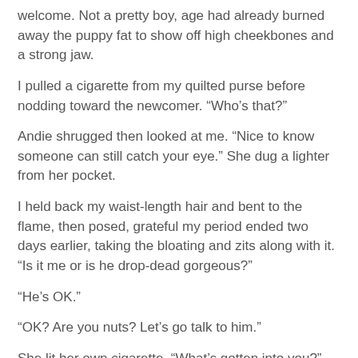welcome. Not a pretty boy, age had already burned away the puppy fat to show off high cheekbones and a strong jaw.
I pulled a cigarette from my quilted purse before nodding toward the newcomer. “Who’s that?”
Andie shrugged then looked at me. “Nice to know someone can still catch your eye.” She dug a lighter from her pocket.
I held back my waist-length hair and bent to the flame, then posed, grateful my period ended two days earlier, taking the bloating and zits along with it. “Is it me or is he drop-dead gorgeous?”
“He’s OK.”
“OK? Are you nuts? Let’s go talk to him.”
She lit her own cigarette. “What’s gotten into you?”
“I don’t know.” I centered the Ankh pendant between my breasts. “But maybe it’s time I tried something different.”